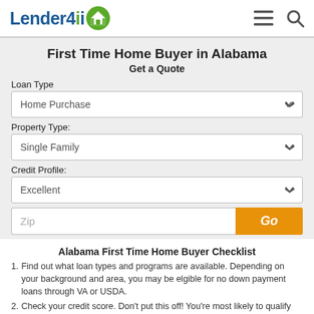Lender4ii [logo with house icon] [hamburger menu] [search icon]
First Time Home Buyer in Alabama
Get a Quote
Loan Type
Home Purchase [dropdown]
Property Type:
Single Family [dropdown]
Credit Profile:
Excellent [dropdown]
Zip [input] Go [button]
Alabama First Time Home Buyer Checklist
Find out what loan types and programs are available. Depending on your background and area, you may be elgible for no down payment loans through VA or USDA.
Check your credit score. Don't put this off! You're most likely to qualify with